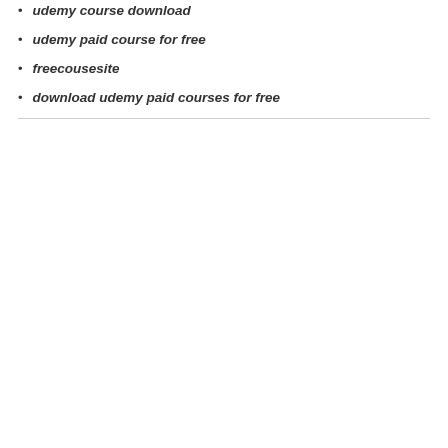udemy course download
udemy paid course for free
freecousesite
download udemy paid courses for free